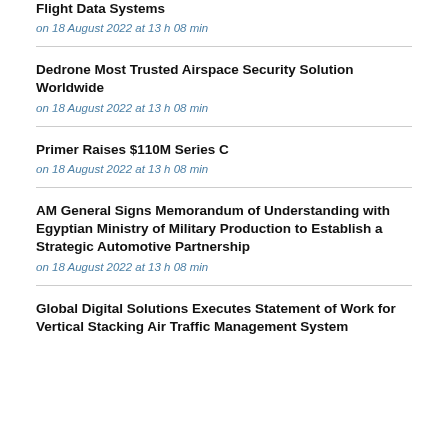Flight Data Systems
on 18 August 2022 at 13 h 08 min
Dedrone Most Trusted Airspace Security Solution Worldwide
on 18 August 2022 at 13 h 08 min
Primer Raises $110M Series C
on 18 August 2022 at 13 h 08 min
AM General Signs Memorandum of Understanding with Egyptian Ministry of Military Production to Establish a Strategic Automotive Partnership
on 18 August 2022 at 13 h 08 min
Global Digital Solutions Executes Statement of Work for Vertical Stacking Air Traffic Management System